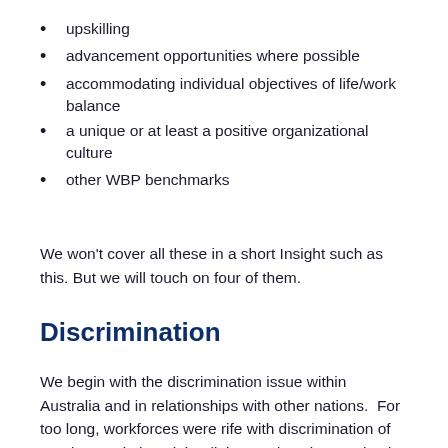upskilling
advancement opportunities where possible
accommodating individual objectives of life/work balance
a unique or at least a positive organizational culture
other WBP benchmarks
We won't cover all these in a short Insight such as this. But we will touch on four of them.
Discrimination
We begin with the discrimination issue within Australia and in relationships with other nations.  For too long, workforces were rife with discrimination of gender, marital, racial, religious, education, societal income bracket, and other forms of discrimination. Most of these